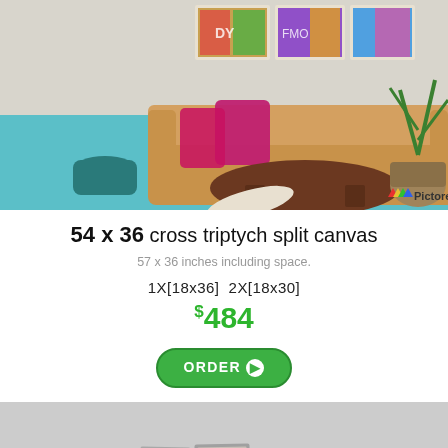[Figure (photo): Living room scene with yellow sofa, pink pillows, round wooden coffee table, teal floor, and three graffiti-style canvas prints on the wall. Pictorem logo in bottom right corner.]
54 x 36 cross triptych split canvas
57 x 36 inches including space.
1X[18x36]  2X[18x30]
$484
ORDER
[Figure (photo): Bottom portion of a product display showing multiple canvas prints arranged together on a light background.]